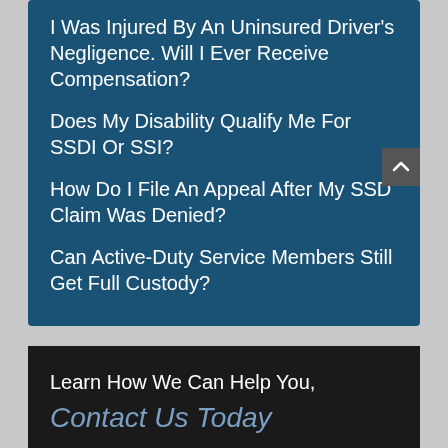I Was Injured By An Uninsured Driver's Negligence. Will I Ever Receive Compensation?
Does My Disability Qualify Me For SSDI Or SSI?
How Do I File An Appeal After My SSD Claim Was Denied?
Can Active-Duty Service Members Still Get Full Custody?
Learn How We Can Help You, Contact Us Today
Fields marked with an